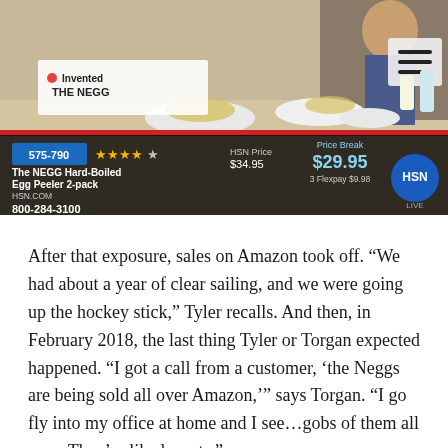[Figure (screenshot): HSN TV segment screenshot showing The NEGG Hard-Boiled Egg Peeler 2-pack being sold on HSN. Product number 575-790, 4.5 star rating, HSN Price $34.95, Price Break $29.95, 3 Flexpay $9.98, phone number 800-284-3100. Also shows a bullet point 'Invented THE NEGG'. HSN LIVE logo visible. Kitchen cooking scene in background.]
After that exposure, sales on Amazon took off. “We had about a year of clear sailing, and we were going up the hockey stick,” Tyler recalls. And then, in February 2018, the last thing Tyler or Torgan expected happened. “I got a call from a customer, ‘the Neggs are being sold all over Amazon,’” says Torgan. “I go fly into my office at home and I see…gobs of them all over. They’re like locusts.”
Counterfeiters, according to Tyler and Torgan, had seen the popularity of the Negg and reverse-engineered the device to